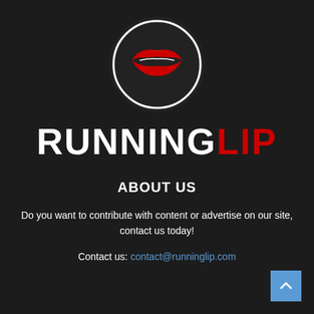[Figure (logo): Running Lip logo: a white circle outline on dark background containing a red lips icon]
RUNNINGLIP
ABOUT US
Do you want to contribute with content or advertise on our site, contact us today!
Contact us: contact@runninglip.com